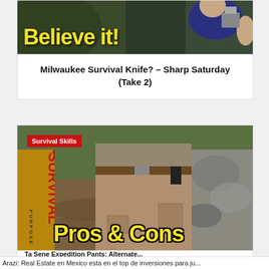[Figure (screenshot): Video thumbnail showing a person in a dark shirt outdoors with bold yellow text 'Believe it!' overlaid]
Milwaukee Survival Knife? – Sharp Saturday (Take 2)
[Figure (screenshot): Video thumbnail showing survival shorts/pants with 'Survival Skills' badge, vertical 'SURVIVAL PURPOSE' text on left, and 'Pros & Cons' in large yellow bold text at bottom]
Ta Sene Expedition Pants: Alternate...
Arazi: Real Estate en Mexico esta en el top de inversiones para ju...